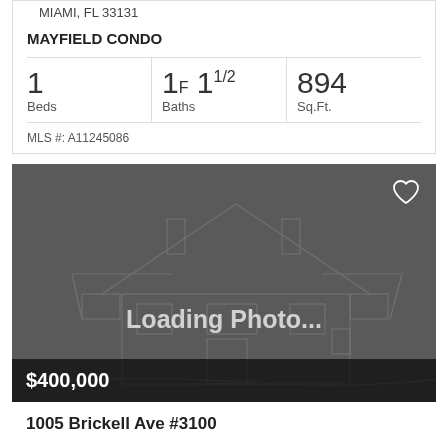MIAMI, FL 33131
MAYFIELD CONDO
| Beds | Baths | Sq.Ft. |
| --- | --- | --- |
| 1 | 1F 11/2 | 894 |
MLS #: A11245086
[Figure (photo): Loading photo placeholder with house outline illustration and '$400,000' price overlay]
1005 Brickell Ave #3100